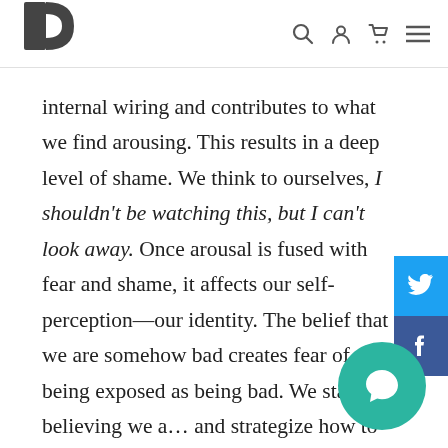Pixabay logo with navigation icons (search, account, cart, menu)
internal wiring and contributes to what we find arousing. This results in a deep level of shame. We think to ourselves, I shouldn't be watching this, but I can't look away. Once arousal is fused with fear and shame, it affects our self-perception—our identity. The belief that we are somehow bad creates fear of being exposed as being bad. We start believing we a… and strategize how to hide our badness